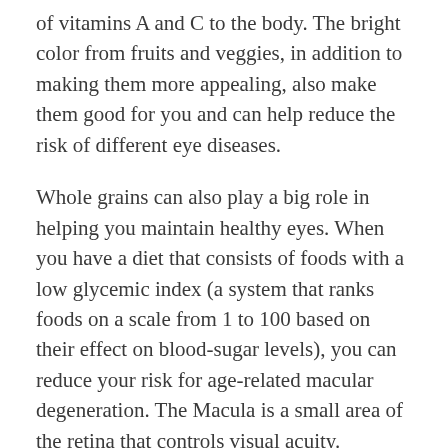of vitamins A and C to the body. The bright color from fruits and veggies, in addition to making them more appealing, also make them good for you and can help reduce the risk of different eye diseases.
Whole grains can also play a big role in helping you maintain healthy eyes. When you have a diet that consists of foods with a low glycemic index (a system that ranks foods on a scale from 1 to 100 based on their effect on blood-sugar levels), you can reduce your risk for age-related macular degeneration. The Macula is a small area of the retina that controls visual acuity.
Having a healthy diet is one part of maintaining a healthy body, which you can use to help…